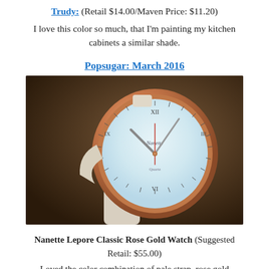Trudy: (Retail $14.00/Maven Price: $11.20)
I love this color so much, that I'm painting my kitchen cabinets a similar shade.
Popsugar: March 2016
[Figure (photo): Close-up photo of a Nanette Lepore Classic Rose Gold Watch with a light blue/white dial, rose gold case, and pale leather strap, displayed at an angle.]
Nanette Lepore Classic Rose Gold Watch (Suggested Retail: $55.00)
Loved the color combination of pale strap, rose gold